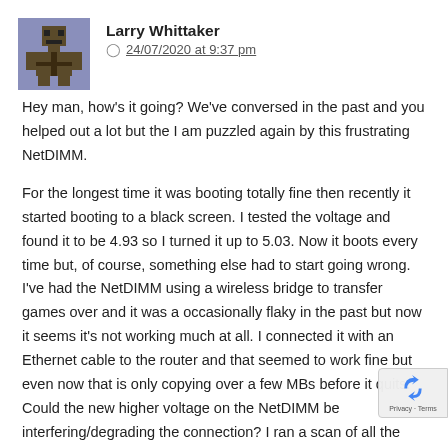[Figure (illustration): Pixel art avatar of a figure with dark brown/olive colors on a purple/grey background]
Larry Whittaker  24/07/2020 at 9:37 pm
Hey man, how's it going? We've conversed in the past and you helped out a lot but the I am puzzled again by this frustrating NetDIMM.
For the longest time it was booting totally fine then recently it started booting to a black screen. I tested the voltage and found it to be 4.93 so I turned it up to 5.03. Now it boots every time but, of course, something else had to start going wrong. I've had the NetDIMM using a wireless bridge to transfer games over and it was a occasionally flaky in the past but now it seems it's not working much at all. I connected it with an Ethernet cable to the router and that seemed to work fine but even now that is only copying over a few MBs before it quits. Could the new higher voltage on the NetDIMM be interfering/degrading the connection? I ran a scan of all the RAM and DIMM memory and they